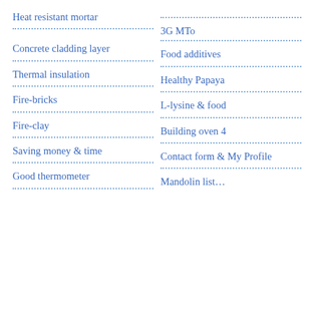Heat resistant mortar
3G MTo
Concrete cladding layer
Food additives
Thermal insulation
Healthy Papaya
Fire-bricks
L-lysine & food
Fire-clay
Building oven 4
Saving money & time
Contact form & My Profile
Good thermometer
Mandolin list…